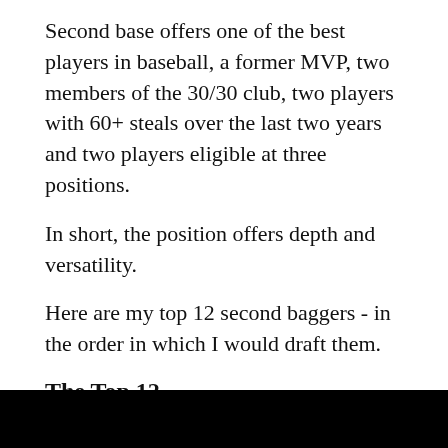Second base offers one of the best players in baseball, a former MVP, two members of the 30/30 club, two players with 60+ steals over the last two years and two players eligible at three positions.
In short, the position offers depth and versatility.
Here are my top 12 second baggers - in the order in which I would draft them.
The Top 12
1) Robinson Cano, Seattle Mariners
Yes, he’s going to a weaker lineup, and yes, he’s going to a more pitcher-friendly park. Doesn’t